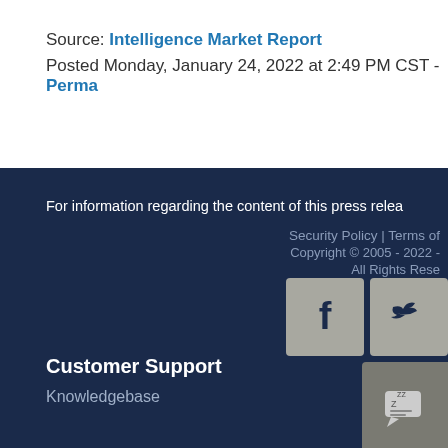Source: Intelligence Market Report
Posted Monday, January 24, 2022 at 2:49 PM CST - Perma...
For information regarding the content of this press relea...
Security Policy | Terms of ...
Copyright © 2005 - 2022 -
All Rights Rese...
[Figure (illustration): Facebook social media icon button (grey rounded square with white F logo)]
[Figure (illustration): Twitter social media icon button (grey rounded square with white bird logo)]
Customer Support
Knowledgebase
[Figure (illustration): Chat widget button with speech bubble and Zzz icon]